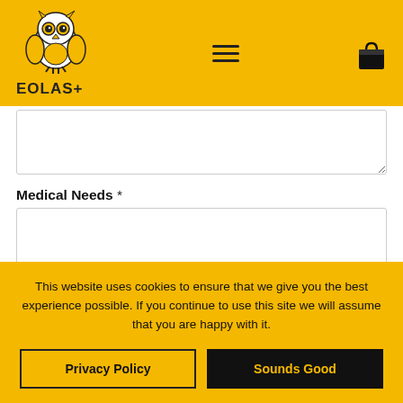[Figure (logo): EOLAS+ owl logo with yellow background header, hamburger menu icon, and bag/cart icon]
Medical Needs *
I agree to my child having his/her photo taken or
This website uses cookies to ensure that we give you the best experience possible. If you continue to use this site we will assume that you are happy with it.
Privacy Policy
Sounds Good